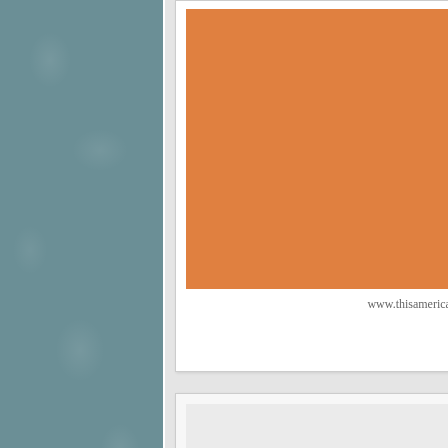[Figure (photo): Photo of a colorful beet and vegetable salad with orange peppers on a white plate, from www.thisamericanbite.com]
www.thisamericanbite.com
A colorful side dish or appeti… turnips. Sugar free, kosher a…
thisamericanbite | Rec… gluten free, kabees el lif…
Read More >
[Figure (screenshot): Placeholder image link: Lacto Fermented Turnips - Two Ways found on PunkDomestics.com, commiskaze.blogspot.ca]
Lacto Fermented Turni…
Lacto Fermented Turnips do… and Japanese Zuke style.
commiskaze | Recipes,… turnips, japanese, kabee…
Read More >
f  Twitter bird icon  Email icon  +